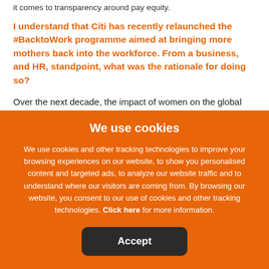it comes to transparency around pay equity.
I understand that Citi has recently relaunched the #BacktoWork programme aimed at bringing more mothers back into the workforce. From a business, and HR, standpoint, what was the rationale for doing so?
Over the next decade, the impact of women on the global economy will be at least as significant as that of China and India's respective one-billion plus
We use cookies
We use cookies and other tracking technologies to improve your browsing experiences on our website, to show you personalised content and targeted ads, to analyze our website traffic and to understand where our visitors are coming from. By browsing our website, you consent to our use of cookies and other tracking technologies. Click here for more information.
Accept